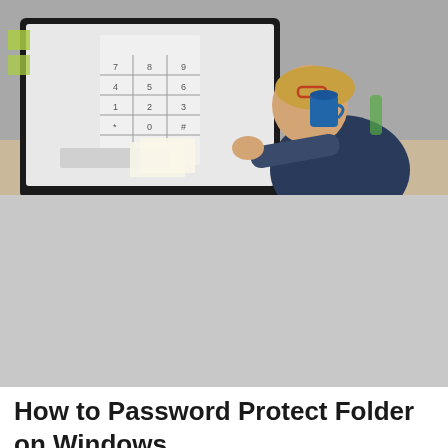[Figure (photo): A person sitting at a desk, leaning forward and looking at a computer monitor displaying a number keypad or calculator interface. The person appears to be drinking from a blue mug and is wearing glasses pushed on their forehead. The desk has sticky notes, papers, and other office items.]
How to Password Protect Folder on Windows